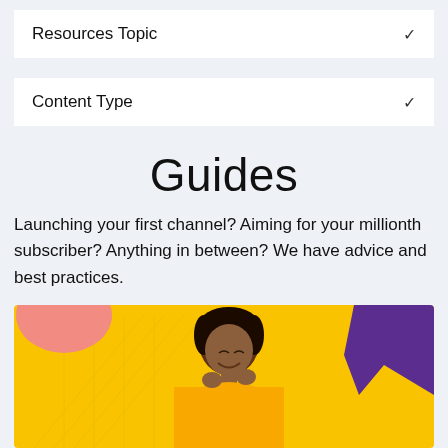Resources Topic
Content Type
Guides
Launching your first channel? Aiming for your millionth subscriber? Anything in between? We have advice and best practices.
[Figure (photo): A smiling young Black woman wearing a yellow sweater, looking down at something, set against a bright yellow background with colorful decorative shapes (pink cloud shape on left, purple leaf/hand shape on right) and a faint grid pattern.]